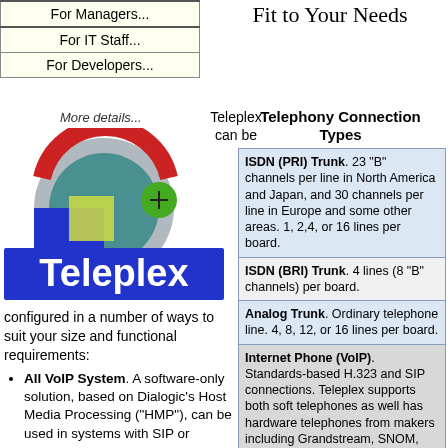| For Managers... |
| For IT Staff... |
| For Developers... |
Fit to Your Needs
More details...
[Figure (logo): Teleplex logo with colorful circular design and blue banner with white text]
Telephony Connection Types
| ISDN (PRI) Trunk. 23 "B" channels per line in North America and Japan, and 30 channels per line in Europe and some other areas. 1, 2,4, or 16 lines per board. |
| ISDN (BRI) Trunk. 4 lines (8 "B" channels) per board. |
| Analog Trunk. Ordinary telephone line. 4, 8, 12, or 16 lines per board. |
| Internet Phone (VoIP). Standards-based H.323 and SIP connections. Teleplex supports both soft telephones as well has hardware telephones from makers including Grandstream, SNOM, and others. |
Teleplex can be configured in a number of ways to suit your size and functional requirements:
All VoIP System. A software-only solution, based on Dialogic's Host Media Processing ("HMP"), can be used in systems with SIP or